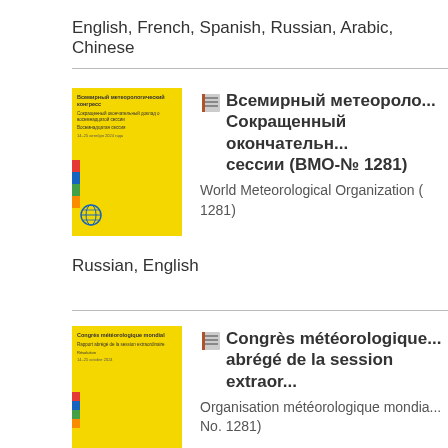English, French, Spanish, Russian, Arabic, Chinese
[Figure (illustration): Yellow book cover with Russian text for WMO publication]
Всемирный метеорологический конгресс. Сокращенный окончательный доклад восемнадцатой сессии (ВМО-№ 1281)
World Meteorological Organization (No. 1281)
Russian, English
[Figure (illustration): Yellow book cover with French text for WMO publication]
Congrès météorologique mondial. Rapport abrégé de la session extraordinaire
Organisation météorologique mondiale (No. 1281)